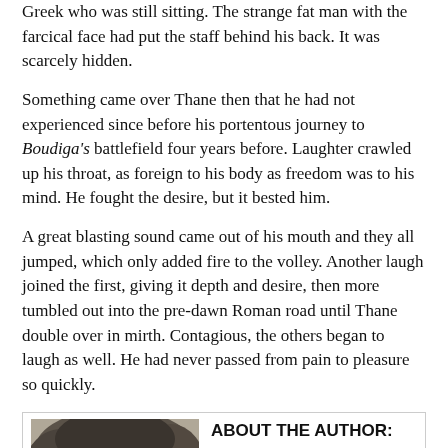Greek who was still sitting. The strange fat man with the farcical face had put the staff behind his back. It was scarcely hidden.
Something came over Thane then that he had not experienced since before his portentous journey to Boudiga's battlefield four years before. Laughter crawled up his throat, as foreign to his body as freedom was to his mind. He fought the desire, but it bested him.
A great blasting sound came out of his mouth and they all jumped, which only added fire to the volley. Another laugh joined the first, giving it depth and desire, then more tumbled out into the pre-dawn Roman road until Thane double over in mirth. Contagious, the others began to laugh as well. He had never passed from pain to pleasure so quickly.
ABOUT THE AUTHOR:
[Figure (photo): Black and white photo of the author, showing a person with short hair viewed from the side/slightly above.]
Somewhere between thirty and dust...red hair, blue eyes...six kids, one slightly used husband, and any number of pets from time to time...wanttobe hippy...